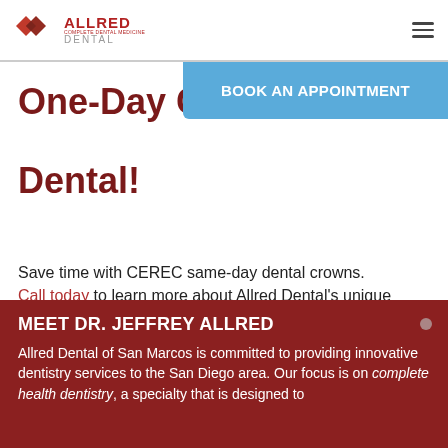[Figure (logo): Allred Dental logo with red diamond shapes and text 'ALLRED DENTAL']
One-Day Crowns at Allred Dental!
[Figure (other): Blue button reading 'BOOK AN APPOINTMENT']
Save time with CEREC same-day dental crowns. Call today to learn more about Allred Dental's unique restorative srevices!
Se habla Español!
MEET DR. JEFFREY ALLRED
Allred Dental of San Marcos is committed to providing innovative dentistry services to the San Diego area. Our focus is on complete health dentistry, a specialty that is designed to